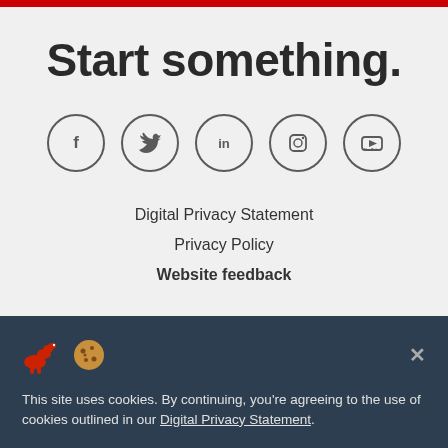Start something.
[Figure (illustration): Five social media icon circles: Facebook (f), Twitter (bird), LinkedIn (in), Instagram (camera), YouTube (play button)]
Digital Privacy Statement
Privacy Policy
Website feedback
University of Calgary
2500 University Drive NW
Calgary Alberta   T2N 1N4
CANADA
This site uses cookies. By continuing, you're agreeing to the use of cookies outlined in our Digital Privacy Statement.
people of the Treaty 7 region in Southern Alberta, which includes the